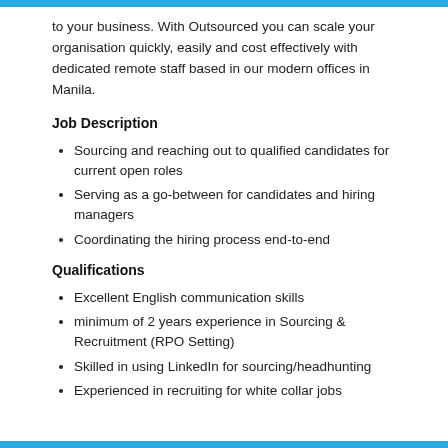to your business. With Outsourced you can scale your organisation quickly, easily and cost effectively with dedicated remote staff based in our modern offices in Manila.
Job Description
Sourcing and reaching out to qualified candidates for current open roles
Serving as a go-between for candidates and hiring managers
Coordinating the hiring process end-to-end
Qualifications
Excellent English communication skills
minimum of 2 years experience in Sourcing & Recruitment (RPO Setting)
Skilled in using LinkedIn for sourcing/headhunting
Experienced in recruiting for white collar jobs